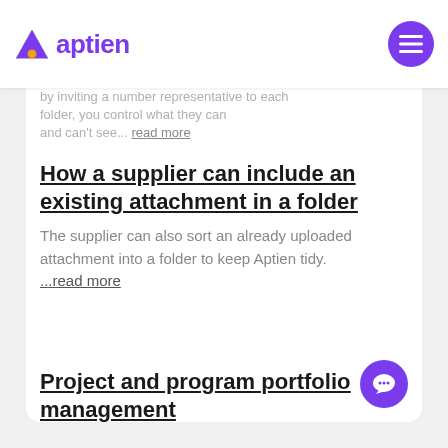aptien
by inviting a number representative to each folder, you control what they can and can't see... read more
How a supplier can include an existing attachment in a folder
The supplier can also sort an already uploaded attachment into a folder to keep Aptien tidy. ...read more
Project and program portfolio management
Manage your projects and programs. ...read more